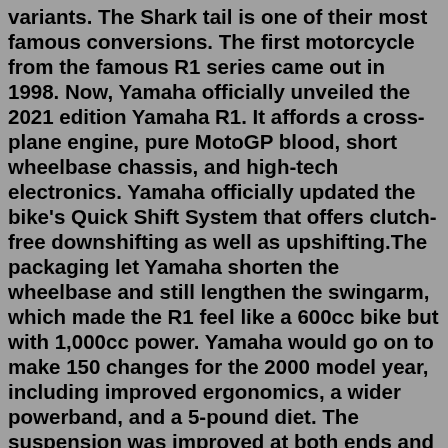variants. The Shark tail is one of their most famous conversions. The first motorcycle from the famous R1 series came out in 1998. Now, Yamaha officially unveiled the 2021 edition Yamaha R1. It affords a cross-plane engine, pure MotoGP blood, short wheelbase chassis, and high-tech electronics. Yamaha officially updated the bike's Quick Shift System that offers clutch-free downshifting as well as upshifting.The packaging let Yamaha shorten the wheelbase and still lengthen the swingarm, which made the R1 feel like a 600cc bike but with 1,000cc power. Yamaha would go on to make 150 changes for the 2000 model year, including improved ergonomics, a wider powerband, and a 5-pound diet. The suspension was improved at both ends and the drivetrain got ...YZF-R1. Equipped with an aggressive new M1-derived cowl, the more aerodynamic bodywork delivers ultimate performance. Next generation LED headlights and restyled LED position lights reinforce this bike's intimidating presence – and with the new Brake